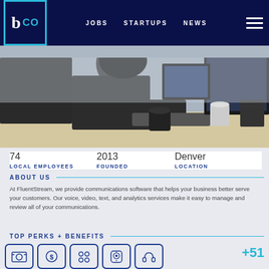b CO  JOBS  STARTUPS  NEWS
[Figure (photo): Person working at a desk with multiple computer monitors, keyboard, and a coffee mug in an office setting]
74
LOCAL EMPLOYEES

2013
FOUNDED

Denver
LOCATION
ABOUT US
At FluentStream, we provide communications software that helps your business better serve your customers. Our voice, video, text, and analytics services make it easy to manage and review all of your communications.
TOP PERKS + BENEFITS
[Figure (illustration): Row of benefit/perk icons in outlined style]
+51